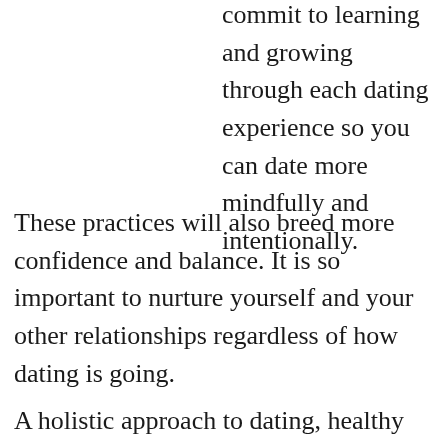commit to learning and growing through each dating experience so you can date more mindfully and intentionally.
These practices will also breed more confidence and balance. It is so important to nurture yourself and your other relationships regardless of how dating is going.
A holistic approach to dating, healthy